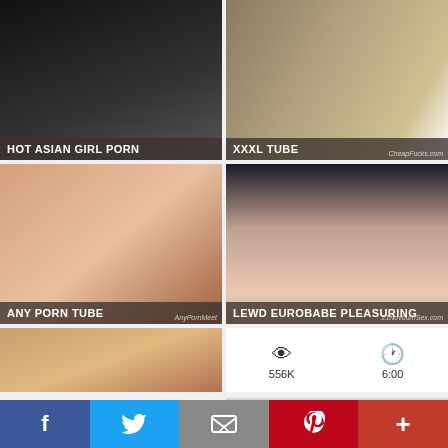[Figure (screenshot): Thumbnail: HOT ASIAN GIRL PORN]
[Figure (screenshot): Thumbnail: XXXL TUBE]
[Figure (screenshot): Thumbnail: ANY PORN TUBE]
[Figure (screenshot): Thumbnail: LEWD EUROBABE PLEASURING, stats 556K views, 6:00 duration]
[Figure (screenshot): Thumbnail row 3 left]
[Figure (screenshot): Thumbnail row 3 right]
f  [Twitter]  [Email]  p  +